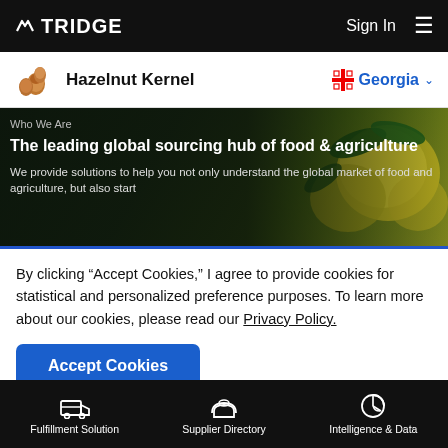TRIDGE  Sign In ≡
Hazelnut Kernel   Georgia
[Figure (screenshot): Hero banner with dark overlay on fruit/agriculture background. Text: 'Who We Are', 'The leading global sourcing hub of food & agriculture', 'We provide solutions to help you not only understand the global market of food and agriculture, but also start']
By clicking "Accept Cookies," I agree to provide cookies for statistical and personalized preference purposes. To learn more about our cookies, please read our Privacy Policy.
Accept Cookies
Fulfillment Solution   Supplier Directory   Intelligence & Data